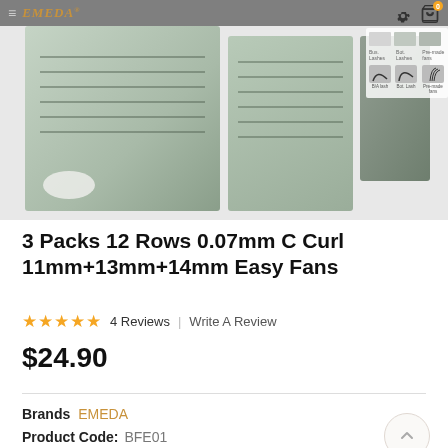[Figure (screenshot): Product page screenshot showing eyelash extension trays from EMEDA brand, with navigation bar, logo, cart icon, and multiple product angle views]
3 Packs 12 Rows 0.07mm C Curl 11mm+13mm+14mm Easy Fans
★★★★★  4 Reviews  |  Write A Review
$24.90
Brands  EMEDA
Product Code:  BFE01
Availability:  In Stock